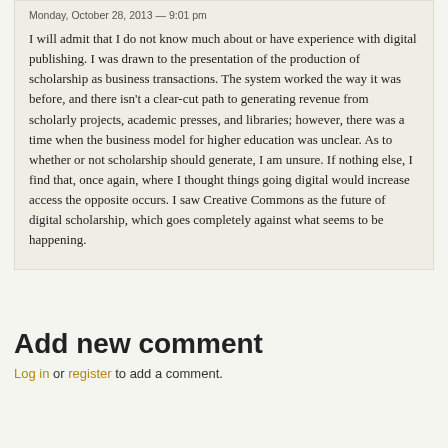Monday, October 28, 2013 — 9:01 pm
I will admit that I do not know much about or have experience with digital publishing. I was drawn to the presentation of the production of scholarship as business transactions. The system worked the way it was before, and there isn't a clear-cut path to generating revenue from scholarly projects, academic presses, and libraries; however, there was a time when the business model for higher education was unclear. As to whether or not scholarship should generate, I am unsure. If nothing else, I find that, once again, where I thought things going digital would increase access the opposite occurs. I saw Creative Commons as the future of digital scholarship, which goes completely against what seems to be happening.
Add new comment
Log in or register to add a comment.